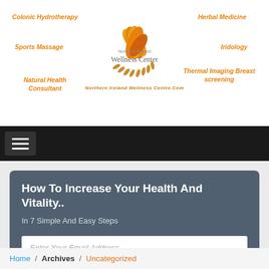[Figure (logo): Northern Ireland Wellness Center logo with orange leaf/grain design and surrounding navigation links: Colonic Hydrotherapy, Sports Massage, Natural Health Consultant, Herbal Medicine, Iridology, Thermal Imaging Breast screening. Website: Northern Ireland Wellness Centre.Com]
[Figure (screenshot): Black navigation bar with hamburger menu icon]
How To Increase Your Health And Vitality..
In 7 Simple And Easy Steps
Enter Your Email Address
Continue >>
Home / Archives / Uncategorized